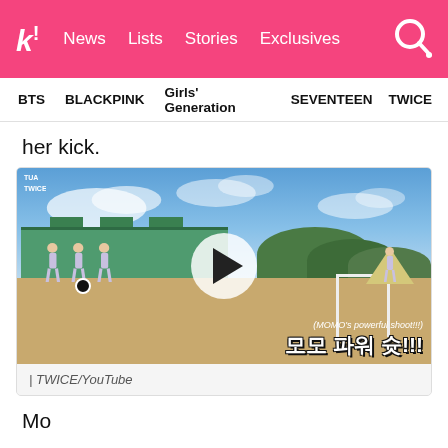k! News Lists Stories Exclusives
BTS   BLACKPINK   Girls' Generation   SEVENTEEN   TWICE
her kick.
[Figure (screenshot): Video thumbnail showing TWICE members playing soccer on a school field with text overlay '(MOMO's powerful shoot!!!) 모모 파워 슛!!!' and a play button in the center. TWICE/YouTube logo watermark in top-left.]
| TWICE/YouTube
Mo